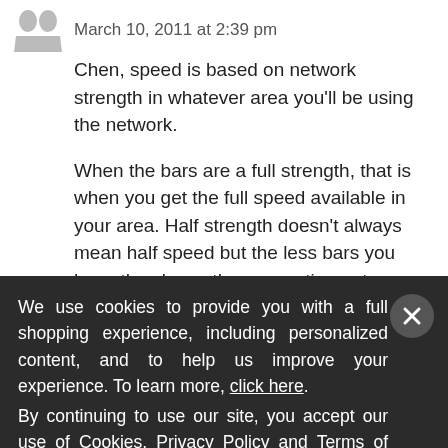March 10, 2011 at 2:39 pm
Chen, speed is based on network strength in whatever area you'll be using the network.
When the bars are a full strength, that is when you get the full speed available in your area. Half strength doesn't always mean half speed but the less bars you have the slower the connection gets.
Then you have one more factor, and that is
We use cookies to provide you with a full shopping experience, including personalized content, and to help us improve your experience. To learn more, click here.
By continuing to use our site, you accept our use of Cookies, Privacy Policy and Terms of Use.